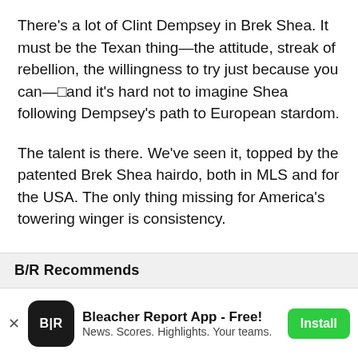There's a lot of Clint Dempsey in Brek Shea. It must be the Texan thing—the attitude, streak of rebellion, the willingness to try just because you can—□and it's hard not to imagine Shea following Dempsey's path to European stardom.
The talent is there. We've seen it, topped by the patented Brek Shea hairdo, both in MLS and for the USA. The only thing missing for America's towering winger is consistency.
If Shea can add some of that to his flashy game, we'll be seeing that hair under much brighter lights.
B/R Recommends
Bleacher Report App - Free! News. Scores. Highlights. Your teams.